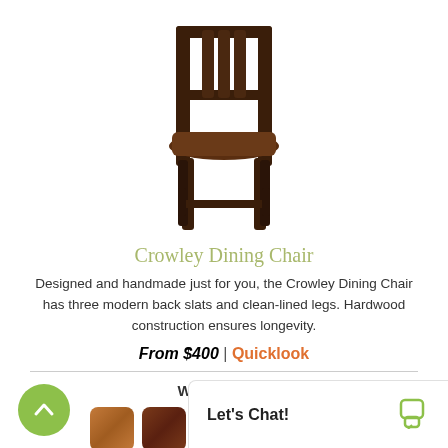[Figure (photo): Dark walnut wooden dining chair with three vertical back slats, solid seat, and four straight legs with a cross stretcher]
Crowley Dining Chair
Designed and handmade just for you, the Crowley Dining Chair has three modern back slats and clean-lined legs. Hardwood construction ensures longevity.
From $400 | Quicklook
Wood Types
+5 more.
Let's Chat!